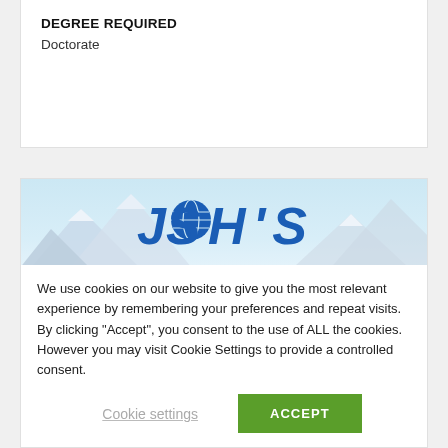DEGREE REQUIRED
Doctorate
[Figure (logo): Josh's logo with mountain/globe scenery banner]
We use cookies on our website to give you the most relevant experience by remembering your preferences and repeat visits. By clicking “Accept”, you consent to the use of ALL the cookies. However you may visit Cookie Settings to provide a controlled consent.
Cookie settings
ACCEPT